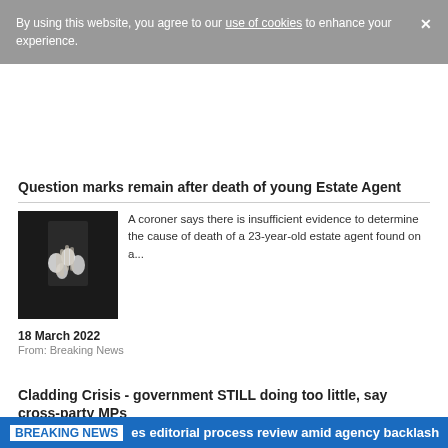By using this website, you agree to our use of cookies to enhance your experience.
Question marks remain after death of young Estate Agent
[Figure (photo): Funeral photo showing a hand holding white flowers against a dark background]
A coroner says there is insufficient evidence to determine the cause of death of a 23-year-old estate agent found on a...
18 March 2022
From: Breaking News
Cladding Crisis - government STILL doing too little, say cross-party MPs
[Figure (photo): Building with cladding — exterior view of apartment block]
Too many leaseholders will fall through the cracks of the government’s “piecemeal measures” to combat the cladding crisis.  That’s the view of...
BREAKING NEWS  es editorial process review amid agency backlash